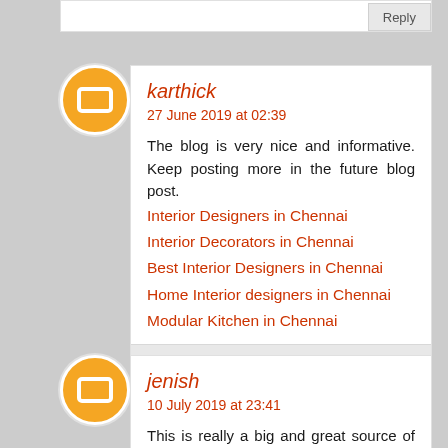Reply
karthick
27 June 2019 at 02:39
The blog is very nice and informative. Keep posting more in the future blog post.
Interior Designers in Chennai
Interior Decorators in Chennai
Best Interior Designers in Chennai
Home Interior designers in Chennai
Modular Kitchen in Chennai
Reply
jenish
10 July 2019 at 23:41
This is really a big and great source of information. We can all contribute and benefit